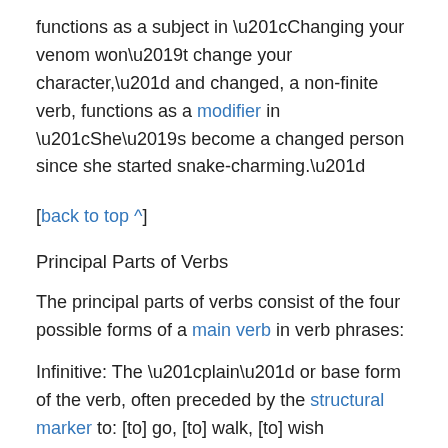functions as a subject in “Changing your venom won’t change your character,” and changed, a non-finite verb, functions as a modifier in “She’s become a changed person since she started snake-charming.”
[back to top ^]
Principal Parts of Verbs
The principal parts of verbs consist of the four possible forms of a main verb in verb phrases:
Infinitive: The “plain” or base form of the verb, often preceded by the structural marker to: [to] go, [to] walk, [to] wish